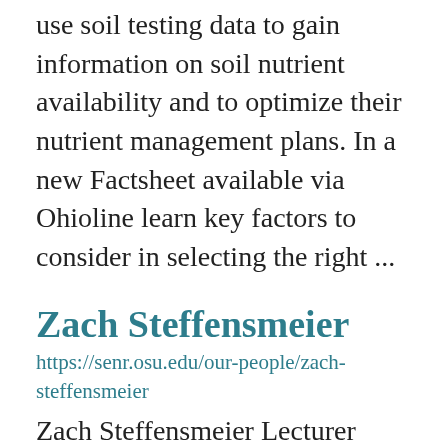use soil testing data to gain information on soil nutrient availability and to optimize their nutrient management plans. In a new Factsheet available via Ohioline learn key factors to consider in selecting the right ...
Zach Steffensmeier
https://senr.osu.edu/our-people/zach-steffensmeier
Zach Steffensmeier Lecturer steffensmeier.7@osu.edu I am broadly interested in aquatic ecology, with a focus on dispersal ecology of freshwater stream fishes. I have a B.S. and M.S. in Environmental Science and Management